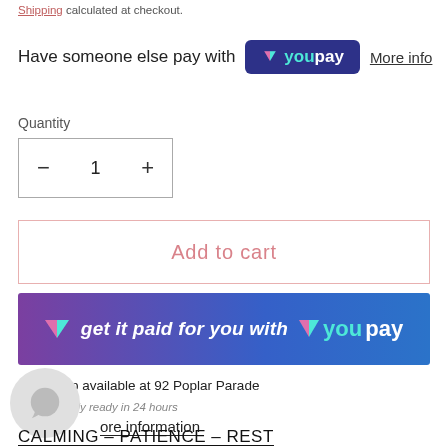Shipping calculated at checkout.
Have someone else pay with YouPay  More info
Quantity
− 1 +
Add to cart
[Figure (other): YouPay promotional banner: 'get it paid for you with YouPay']
✓ Pickup available at 92 Poplar Parade
Usually ready in 24 hours
ore information
CALMING - PATIENCE - REST